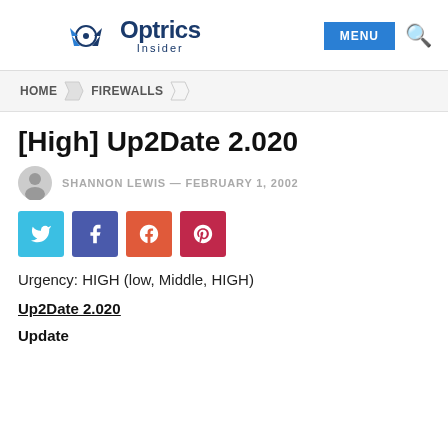Optrics Insider | MENU
HOME > FIREWALLS
[High] Up2Date 2.020
SHANNON LEWIS — FEBRUARY 1, 2002
[Figure (other): Social share buttons: Twitter, Facebook, Google+, Pinterest]
Urgency: HIGH (low, Middle, HIGH)
Up2Date 2.020
Update